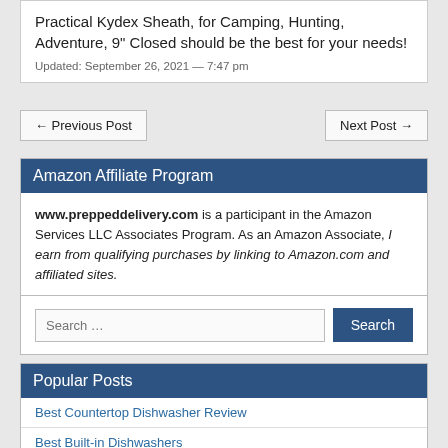Practical Kydex Sheath, for Camping, Hunting, Adventure, 9" Closed should be the best for your needs!
Updated: September 26, 2021 — 7:47 pm
← Previous Post
Next Post →
Amazon Affiliate Program
www.preppeddelivery.com is a participant in the Amazon Services LLC Associates Program. As an Amazon Associate, I earn from qualifying purchases by linking to Amazon.com and affiliated sites.
Search …
Popular Posts
Best Countertop Dishwasher Review
Best Built-in Dishwashers
The Best Electric Cooktops – Buying Guide 2021